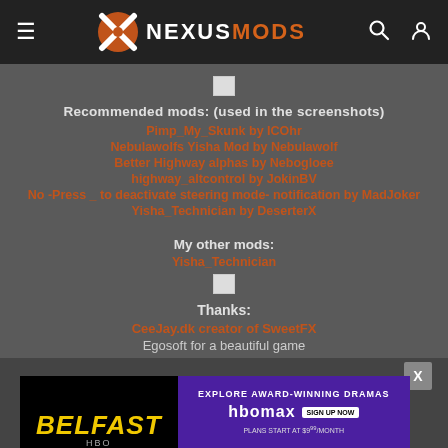NEXUSMODS
[Figure (screenshot): Broken image thumbnail]
Recommended mods: (used in the screenshots)
Pimp_My_Skunk by ICOhr
Nebulawolfs Yisha Mod by Nebulawolf
Better Highway alphas by Nebogloee
highway_altcontrol by JokinBV
No -Press _ to deactivate steering mode- notification by MadJoker
Yisha_Technician by DeserterX
My other mods:
Yisha_Technician
[Figure (screenshot): Broken image thumbnail]
Thanks:
CeeJay.dk creator of SweetFX
Egosoft for a beautiful game
[Figure (screenshot): Advertisement banner: BELFAST - HBO Max, Explore Award-Winning Dramas, Plans start at $9.99/month]